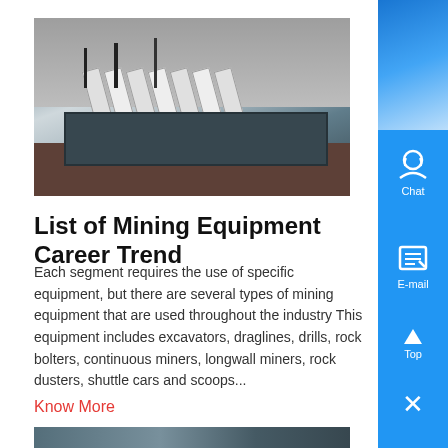[Figure (photo): Industrial mining equipment photo showing metal pipes/bolts machinery in a factory setting]
List of Mining Equipment Career Trend
Each segment requires the use of specific equipment, but there are several types of mining equipment that are used throughout the industry This equipment includes excavators, draglines, drills, rock bolters, continuous miners, longwall miners, rock dusters, shuttle cars and scoops...
Know More
[Figure (photo): Partial photo of mining equipment at bottom of page]